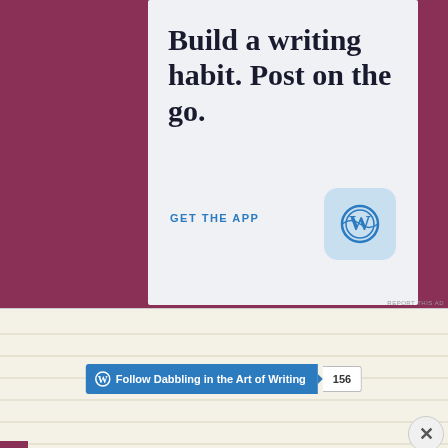[Figure (screenshot): WordPress app advertisement with text 'Build a writing habit. Post on the go.' and 'GET THE APP' link with WordPress W logo icon on light blue-grey rounded background.]
REPORT THIS AD
[Figure (screenshot): WordPress Follow widget button: 'Follow Dabbling in the Art of Writing' with follower count '156' on lined paper background.]
Advertisements
[Figure (screenshot): Day One journaling app advertisement: 'DAY ONE - The only journaling app you'll ever need.' with illustrated icons on light blue background.]
REPORT THIS AD